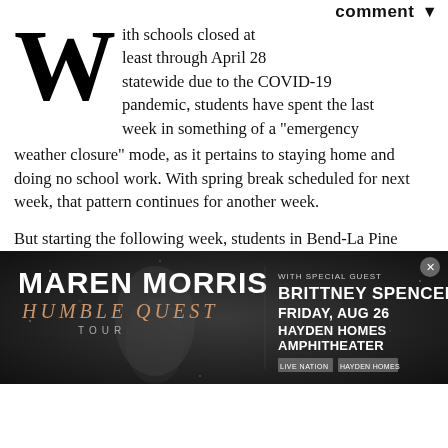comment ▾
With schools closed at least through April 28 statewide due to the COVID-19 pandemic, students have spent the last week in something of a "emergency weather closure" mode, as it pertains to staying home and doing no school work. With spring break scheduled for next week, that pattern continues for another week.
But starting the following week, students in Bend-La Pine Schools will work directly with their teachers on assignments from home, and can expect to hear from students' teachers by Tuesday, March 31 about each classroom's plan. (Updated: the original version said May 31. That was an error.)
"It will be directly...
[Figure (advertisement): Maren Morris Humble Quest Tour advertisement featuring Brittney Spencer as special guest, Friday Aug 26, Hayden Homes Amphitheater, Live Nation]